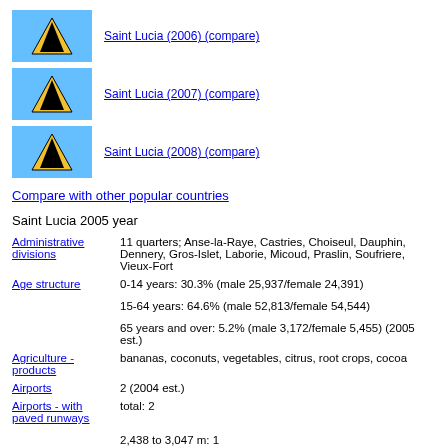[Figure (illustration): Flag of Saint Lucia - blue background with black-edged yellow triangle and black triangle on top]
Saint Lucia (2006) (compare)
[Figure (illustration): Flag of Saint Lucia - blue background with black-edged yellow triangle and black triangle on top]
Saint Lucia (2007) (compare)
[Figure (illustration): Flag of Saint Lucia - blue background with black-edged yellow triangle and black triangle on top]
Saint Lucia (2008) (compare)
Compare with other popular countries
Saint Lucia 2005 year
| Field | Value |
| --- | --- |
| Administrative divisions | 11 quarters; Anse-la-Raye, Castries, Choiseul, Dauphin, Dennery, Gros-Islet, Laborie, Micoud, Praslin, Soufriere, Vieux-Fort |
| Age structure | 0-14 years: 30.3% (male 25,937/female 24,391)

15-64 years: 64.6% (male 52,813/female 54,544)

65 years and over: 5.2% (male 3,172/female 5,455) (2005 est.) |
| Agriculture - products | bananas, coconuts, vegetables, citrus, root crops, cocoa |
| Airports | 2 (2004 est.) |
| Airports - with paved runways | total: 2

2,438 to 3,047 m: 1 |